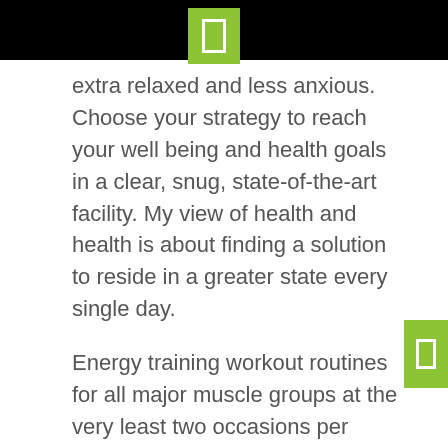[Figure (other): Top black bar with centered green rectangle icon box]
extra relaxed and less anxious. Choose your strategy to reach your well being and health goals in a clear, snug, state-of-the-art facility. My view of health and health is about finding a solution to reside in a greater state every single day.
Energy training workout routines for all major muscle groups at the very least two occasions per week. Please note these updates to our Fitness Middle and Pool hours for Excessive Holidays in September and October. For driving and parking, use the above address for the very best access to the Abbott Health & Fitness Expo.
The starting gun for the Cellcom Inexperienced Bay Marathon occasion weekend is the Prevea Health &
[Figure (other): Right side green rectangle icon box]